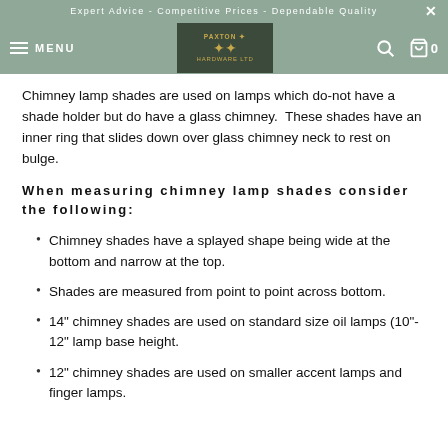Expert Advice - Competitive Prices - Dependable Quality
[Figure (logo): Paxton Hardware Ltd logo with crown emblem on dark green background, flanked by hamburger menu, search icon, and cart icon on sage green navbar]
Chimney lamp shades are used on lamps which do-not have a shade holder but do have a glass chimney.  These shades have an inner ring that slides down over glass chimney neck to rest on bulge.
When measuring chimney lamp shades consider the following:
Chimney shades have a splayed shape being wide at the bottom and narrow at the top.
Shades are measured from point to point across bottom.
14" chimney shades are used on standard size oil lamps (10"- 12" lamp base height.
12" chimney shades are used on smaller accent lamps and finger lamps.